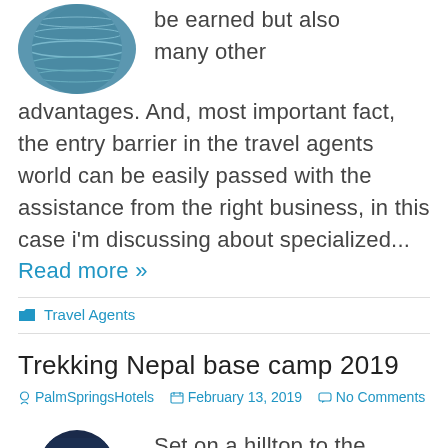[Figure (photo): Circular cropped photo of water/lake surface with ripples and blue tones]
be earned but also many other advantages. And, most important fact, the entry barrier in the travel agents world can be easily passed with the assistance from the right business, in this case i'm discussing about specialized... Read more »
Travel Agents
Trekking Nepal base camp 2019
PalmSpringsHotels   February 13, 2019   No Comments
[Figure (photo): Circular cropped photo with dark navy blue tones, mountain or landscape]
Set on a hilltop to the west of Kathmandu